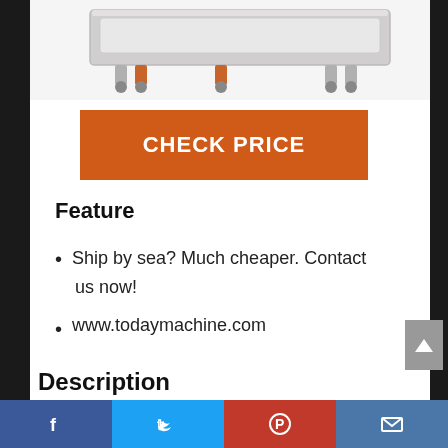[Figure (photo): Partial view of a commercial machine (likely a food processing or packaging machine) with metallic body and red/orange accents, shown at top of page]
CHECK PRICE
Feature
Ship by sea? Much cheaper. Contact us now!
www.todaymachine.com
Description